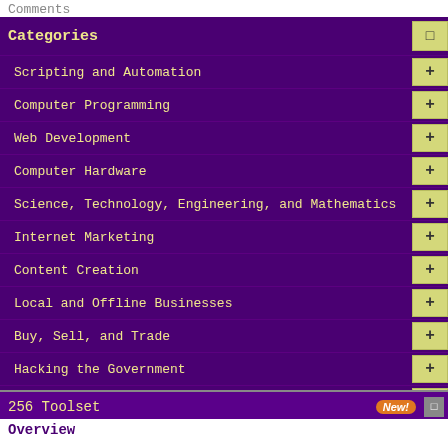Comments
Categories
Scripting and Automation
Computer Programming
Web Development
Computer Hardware
Science, Technology, Engineering, and Mathematics
Internet Marketing
Content Creation
Local and Offline Businesses
Buy, Sell, and Trade
Hacking the Government
Offtopic
Meta
Computer Software
eBooks
Tags
256 Toolset
Overview